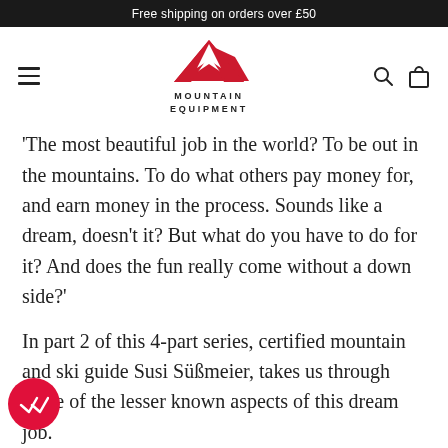Free shipping on orders over £50
[Figure (logo): Mountain Equipment logo: red M-shaped mountain icon above the text MOUNTAIN EQUIPMENT in bold capitals]
‘The most beautiful job in the world? To be out in the mountains. To do what others pay money for, and earn money in the process. Sounds like a dream, doesn’t it? But what do you have to do for it? And does the fun really come without a down side?’
In part 2 of this 4-part series, certified mountain and ski guide Susi Süßmeier, takes us through some of the lesser known aspects of this dream job.
Words by Susi Süßmeier. Cover photo by Boris